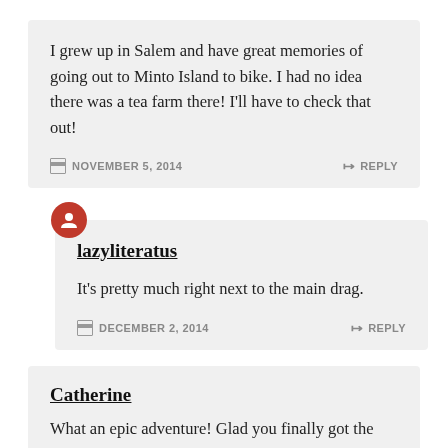I grew up in Salem and have great memories of going out to Minto Island to bike. I had no idea there was a tea farm there! I'll have to check that out!
NOVEMBER 5, 2014   REPLY
lazyliteratus
It's pretty much right next to the main drag.
DECEMBER 2, 2014   REPLY
Catherine
What an epic adventure! Glad you finally got the teas.